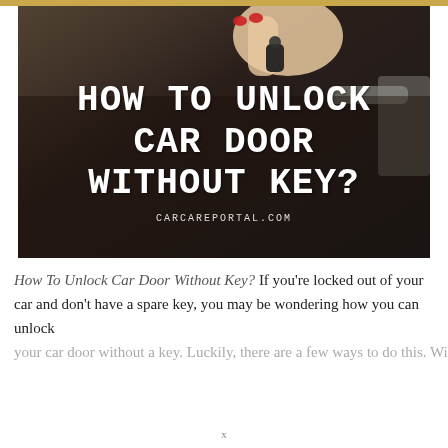[Figure (photo): A hand with red nail polish holding car keys near a dark car door handle, used as hero image background.]
HOW TO UNLOCK CAR DOOR WITHOUT KEY?
CARCAREPORTAL.COM
How To Unlock Car Door Without Key? If you're locked out of your car and don't have a spare key, you may be wondering how you can unlock your car door without a key. Luckily, there are a few ways to do this. With